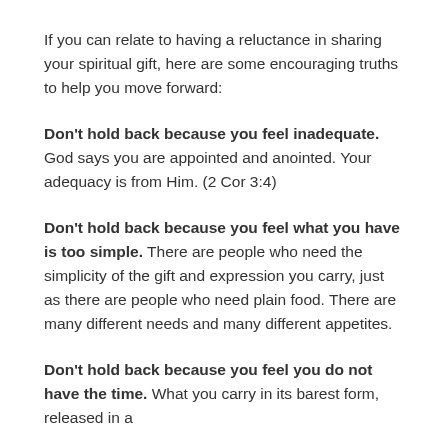If you can relate to having a reluctance in sharing your spiritual gift, here are some encouraging truths to help you move forward:
Don't hold back because you feel inadequate. God says you are appointed and anointed. Your adequacy is from Him. (2 Cor 3:4)
Don't hold back because you feel what you have is too simple. There are people who need the simplicity of the gift and expression you carry, just as there are people who need plain food. There are many different needs and many different appetites.
Don't hold back because you feel you do not have the time. What you carry in its barest form, released in a